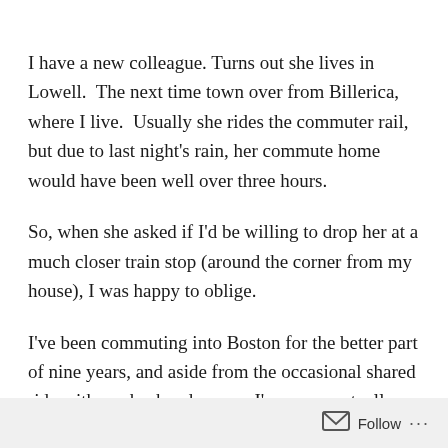I have a new colleague. Turns out she lives in Lowell.  The next time town over from Billerica, where I live.  Usually she rides the commuter rail, but due to last night's rain, her commute home would have been well over three hours.
So, when she asked if I'd be willing to drop her at a much closer train stop (around the corner from my house), I was happy to oblige.
I've been commuting into Boston for the better part of nine years, and aside from the occasional shared ride with my husband or son, I've never actually commuted with
Follow ...